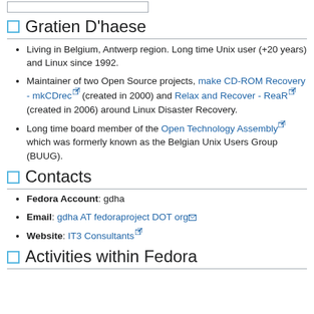Gratien D'haese
Living in Belgium, Antwerp region. Long time Unix user (+20 years) and Linux since 1992.
Maintainer of two Open Source projects, make CD-ROM Recovery - mkCDrec (created in 2000) and Relax and Recover - ReaR (created in 2006) around Linux Disaster Recovery.
Long time board member of the Open Technology Assembly which was formerly known as the Belgian Unix Users Group (BUUG).
Contacts
Fedora Account: gdha
Email: gdha AT fedoraproject DOT org
Website: IT3 Consultants
Activities within Fedora